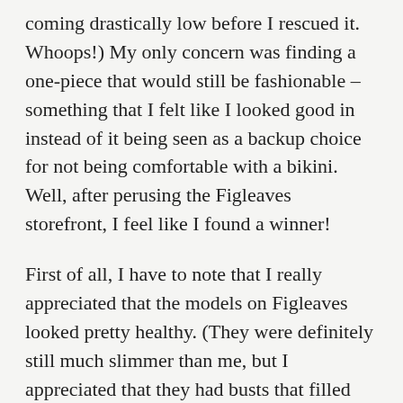coming drastically low before I rescued it. Whoops!) My only concern was finding a one-piece that would still be fashionable –something that I felt like I looked good in instead of it being seen as a backup choice for not being comfortable with a bikini. Well, after perusing the Figleaves storefront, I feel like I found a winner!
First of all, I have to note that I really appreciated that the models on Figleaves looked pretty healthy. (They were definitely still much slimmer than me, but I appreciated that they had busts that filled out the suit so I'd get some idea of what it looked like on me, rather than the waif-like figures that normally model clothes.) I measured myself with a tape measure to figure out the appropriate size – and though it was slightly larger than expected (since this particular suit had European sizing), I didn't care. In these days